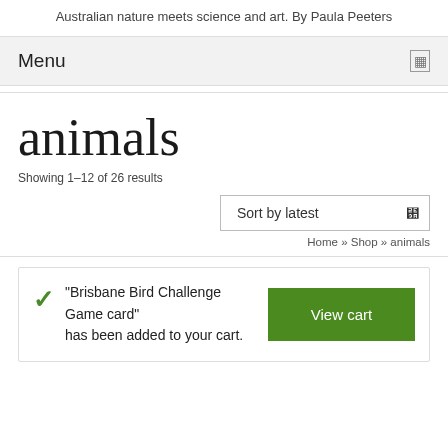Australian nature meets science and art. By Paula Peeters
Menu
animals
Showing 1–12 of 26 results
Sort by latest
Home » Shop » animals
"Brisbane Bird Challenge Game card" has been added to your cart.